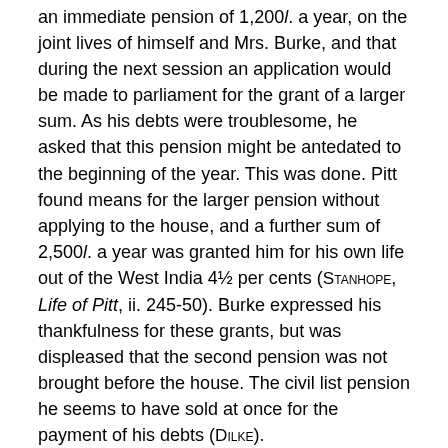an immediate pension of 1,200l. a year, on the joint lives of himself and Mrs. Burke, and that during the next session an application would be made to parliament for the grant of a larger sum. As his debts were troublesome, he asked that this pension might be antedated to the beginning of the year. This was done. Pitt found means for the larger pension without applying to the house, and a further sum of 2,500l. a year was granted him for his own life out of the West India 4½ per cents (STANHOPE, Life of Pitt, ii. 245-50). Burke expressed his thankfulness for these grants, but was displeased that the second pension was not brought before the house. The civil list pension he seems to have sold at once for the payment of his debts (DILKE).
The recall of Lord Fitzwilliam from Ireland early in 1795 excited Burke's fears for the cause of religious toleration in his native land, and was the occasion of his second letter